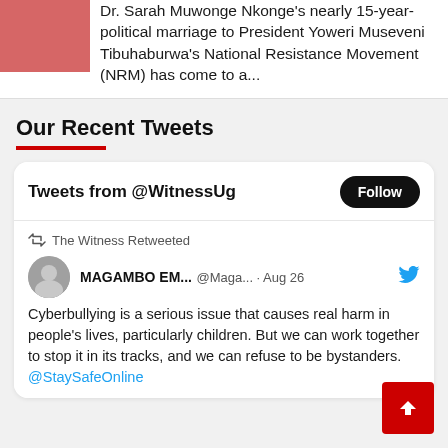Dr. Sarah Muwonge Nkonge's nearly 15-year-political marriage to President Yoweri Museveni Tibuhaburwa's National Resistance Movement (NRM) has come to a...
Our Recent Tweets
Tweets from @WitnessUg
The Witness Retweeted
MAGAMBO EM... @Maga... · Aug 26
Cyberbullying is a serious issue that causes real harm in people's lives, particularly children. But we can work together to stop it in its tracks, and we can refuse to be bystanders. @StaySafeOnline